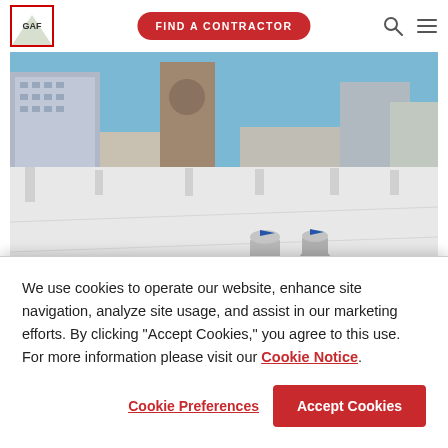GAF logo, FIND A CONTRACTOR button, search and menu icons
[Figure (photo): Aerial view of a large flat commercial rooftop with white TPO/EPDM membrane roofing, HVAC vents, and city skyline in the background with blue sky]
We use cookies to operate our website, enhance site navigation, analyze site usage, and assist in our marketing efforts. By clicking "Accept Cookies," you agree to this use. For more information please visit our Cookie Notice.
Cookie Preferences
Accept Cookies